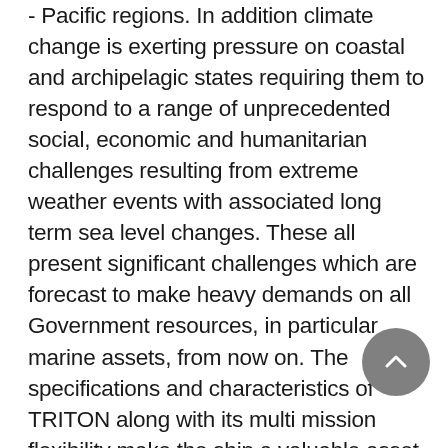- Pacific regions. In addition climate change is exerting pressure on coastal and archipelagic states requiring them to respond to a range of unprecedented social, economic and humanitarian challenges resulting from extreme weather events with associated long term sea level changes. These all present significant challenges which are forecast to make heavy demands on all Government resources, in particular marine assets, from now on. The specifications and characteristics of TRITON along with its multi mission flexibility make the ship a valuable asset in humanitarian relief activities
Countering Terrorism. Evolving international and regional terrorism threats add an increasingly complex dimension to the protection of sovereign assets and activities, including...